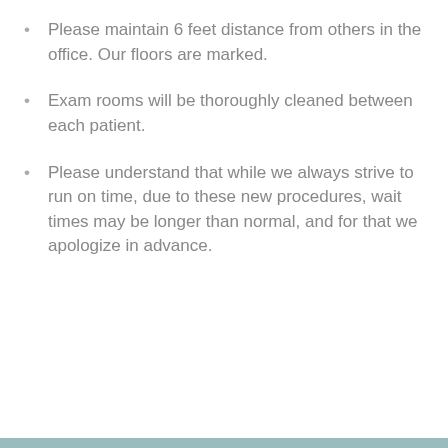Please maintain 6 feet distance from others in the office. Our floors are marked.
Exam rooms will be thoroughly cleaned between each patient.
Please understand that while we always strive to run on time, due to these new procedures, wait times may be longer than normal, and for that we apologize in advance.